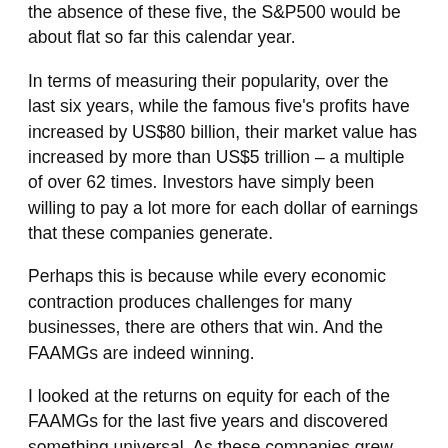the absence of these five, the S&P500 would be about flat so far this calendar year.
In terms of measuring their popularity, over the last six years, while the famous five's profits have increased by US$80 billion, their market value has increased by more than US$5 trillion – a multiple of over 62 times. Investors have simply been willing to pay a lot more for each dollar of earnings that these companies generate.
Perhaps this is because while every economic contraction produces challenges for many businesses, there are others that win. And the FAAMGs are indeed winning.
I looked at the returns on equity for each of the FAAMGs for the last five years and discovered something universal. As these companies grew, they became more profitable. In 2016, Microsoft was earning US$20 billion on US$76 billion of equity, or a return on equity of 27%. In 2020, Microsoft's equity was a little more than 50% higher at US$110 billion but the